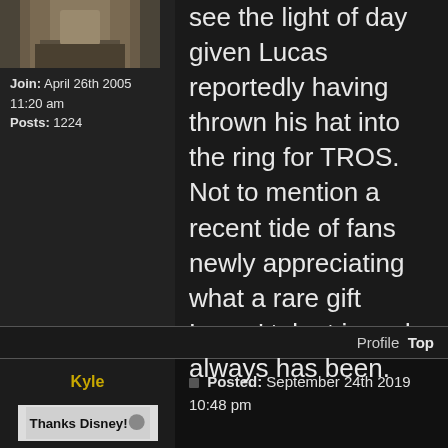[Figure (photo): Avatar image of a person in robes/costume, partially visible at top]
Join: April 26th 2005 11:20 am
Posts: 1224
see the light of day given Lucas reportedly having thrown his hat into the ring for TROS. Not to mention a recent tide of fans newly appreciating what a rare gift Lucas' talent is and always has been.
Profile  Top
Kyle
Posted: September 24th 2019 10:48 pm
[Figure (screenshot): Thanks Disney! banner/image]